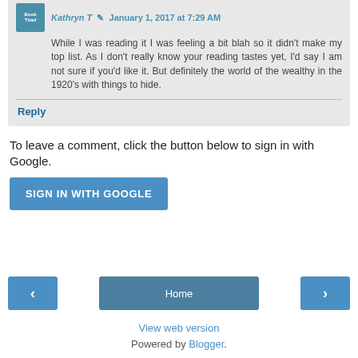Kathryn T · January 1, 2017 at 7:29 AM
While I was reading it I was feeling a bit blah so it didn't make my top list. As I don't really know your reading tastes yet, I'd say I am not sure if you'd like it. But definitely the world of the wealthy in the 1920's with things to hide.
Reply
To leave a comment, click the button below to sign in with Google.
SIGN IN WITH GOOGLE
‹
Home
›
View web version
Powered by Blogger.